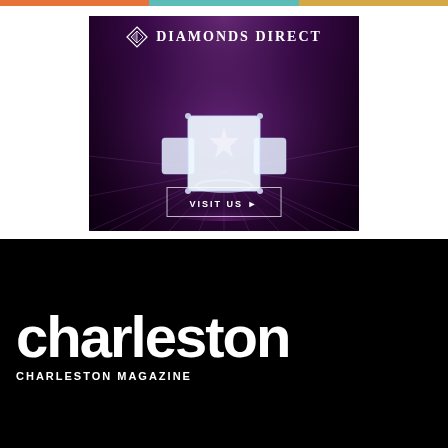[Figure (illustration): Colored top bar with orange, teal, and gold segments]
[Figure (photo): Diamonds Direct advertisement on dark purple background with sparkle rays, featuring a large princess-cut three-stone diamond ring, the Diamonds Direct logo with diamond shape icon at top, and a 'VISIT US' button at bottom]
charleston
CHARLESTON MAGAZINE